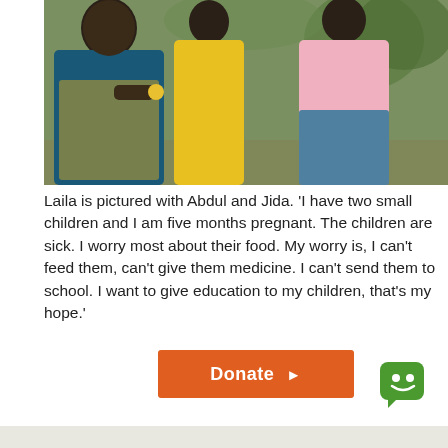[Figure (photo): A woman (Laila) seated outdoors with two children (Abdul and Jida). The woman wears a blue patterned wrap. A child in a yellow outfit stands in the center. Another child in pink stands to the right. Green foliage in the background.]
Laila is pictured with Abdul and Jida. 'I have two small children and I am five months pregnant. The children are sick. I worry most about their food. My worry is, I can't feed them, can't give them medicine. I can't send them to school. I want to give education to my children, that's my hope.'
[Figure (other): Orange rectangular Donate button with a right-pointing triangle arrow]
[Figure (other): Green rounded-square chat icon with a smiley face]